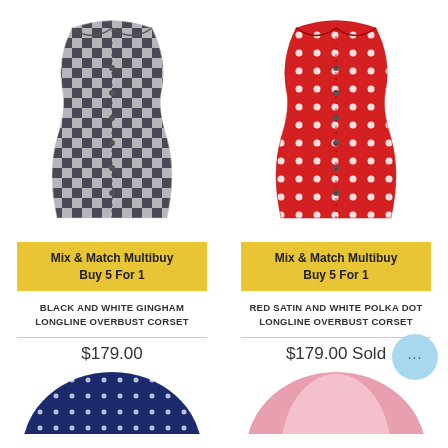[Figure (photo): Black and white gingham longline overbust corset with bra-style top and button front]
[Figure (photo): Red satin and white polka dot longline overbust corset with bra-style top and button front]
Mix & Match Multibuy Buy 5 For 1
Mix & Match Multibuy Buy 5 For 1
BLACK AND WHITE GINGHAM LONGLINE OVERBUST CORSET
RED SATIN AND WHITE POLKA DOT LONGLINE OVERBUST CORSET
$179.00
$179.00 Sold
[Figure (photo): Navy blue with white polka dot corset (bottom partial view)]
[Figure (photo): Pink corset (bottom partial view)]